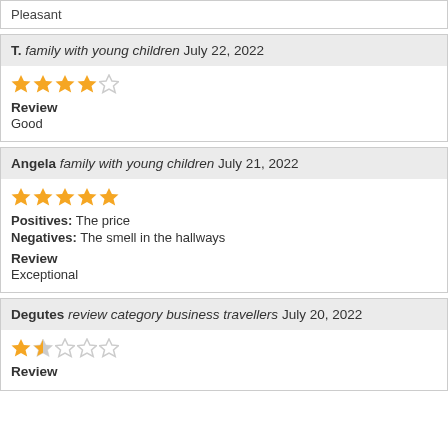Pleasant
T. family with young children July 22, 2022
Review
Good
Angela family with young children July 21, 2022
Positives: The price
Negatives: The smell in the hallways
Review
Exceptional
Degutes review category business travellers July 20, 2022
Review